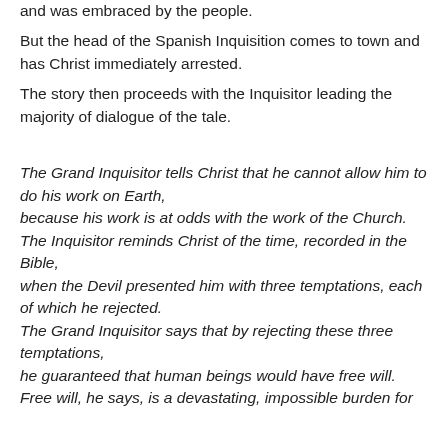and was embraced by the people.
But the head of the Spanish Inquisition comes to town and has Christ immediately arrested.
The story then proceeds with the Inquisitor leading the majority of dialogue of the tale.
The Grand Inquisitor tells Christ that he cannot allow him to do his work on Earth,
because his work is at odds with the work of the Church.
The Inquisitor reminds Christ of the time, recorded in the Bible,
when the Devil presented him with three temptations, each of which he rejected.
The Grand Inquisitor says that by rejecting these three temptations,
he guaranteed that human beings would have free will.
Free will, he says, is a devastating, impossible burden for